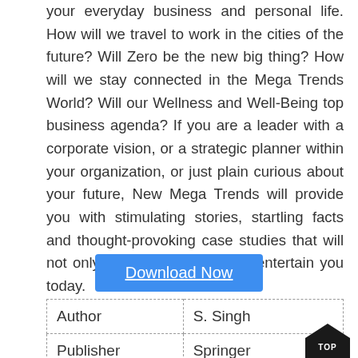your everyday business and personal life. How will we travel to work in the cities of the future? Will Zero be the new big thing? How will we stay connected in the Mega Trends World? Will our Wellness and Well-Being top business agenda? If you are a leader with a corporate vision, or a strategic planner within your organization, or just plain curious about your future, New Mega Trends will provide you with stimulating stories, startling facts and thought-provoking case studies that will not only inform your future but entertain you today.
[Figure (other): Blue Download Now button with underlined white text]
| Author | S. Singh |
| Publisher | Springer |